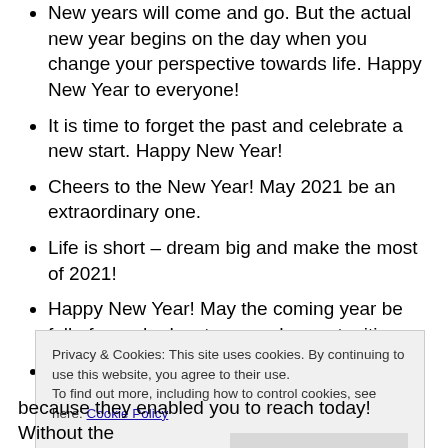New years will come and go. But the actual new year begins on the day when you change your perspective towards life. Happy New Year to everyone!
It is time to forget the past and celebrate a new start. Happy New Year!
Cheers to the New Year! May 2021 be an extraordinary one.
Life is short – dream big and make the most of 2021!
Happy New Year! May the coming year be full of grand adventures and opportunities.
New years will come and go. But the actual new year
Privacy & Cookies: This site uses cookies. By continuing to use this website, you agree to their use.
To find out more, including how to control cookies, see here: Cookie Policy
because they enabled you to reach today! Without the